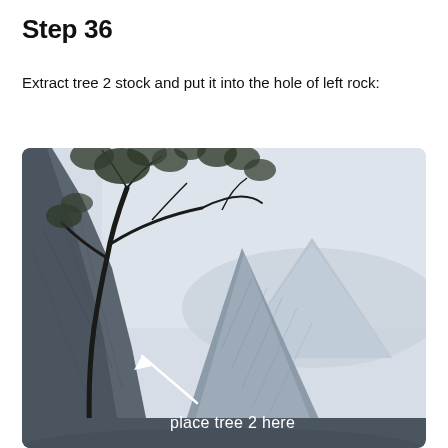Step 36
Extract tree 2 stock and put it into the hole of left rock:
[Figure (photo): Photo of a rocky cliff scene with a tree growing from rocks on the left, a large grey stone peak in the center, and a misty mountain in the background. A white arrow points to a crevice at the base of the left rock formation. White text reads 'place tree 2 here'.]